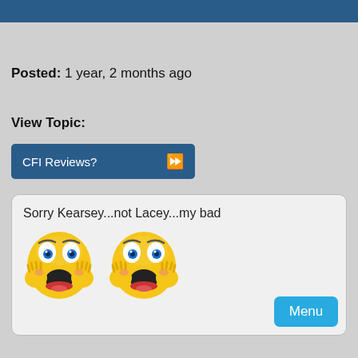Posted:  1 year, 2 months ago
View Topic:
CFI Reviews?
Sorry Kearsey...not Lacey...my bad
[Figure (illustration): Two yellow shocked/scared emoji faces with hands on cheeks and open mouths]
Menu